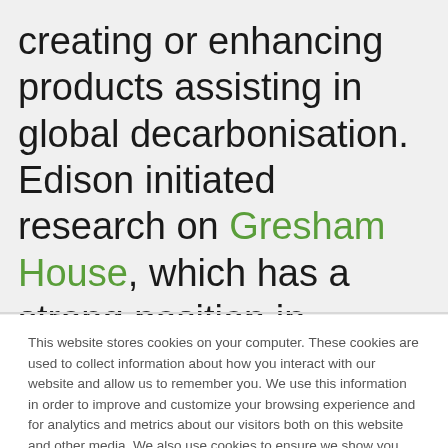creating or enhancing products assisting in global decarbonisation. Edison initiated research on Gresham House, which has a strong position in alternative asset
This website stores cookies on your computer. These cookies are used to collect information about how you interact with our website and allow us to remember you. We use this information in order to improve and customize your browsing experience and for analytics and metrics about our visitors both on this website and other media. We also use cookies to ensure we show you advertising that is relevant to you. To find out more about the cookies we use, see our Privacy Policy.
If you decline, your information won't be tracked when you visit this website. A single cookie will be used in your browser to remember your preference not to be tracked.